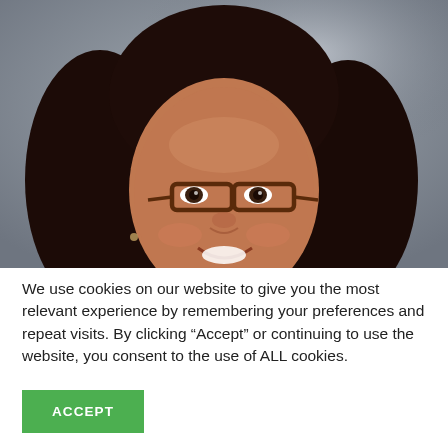[Figure (photo): Headshot of a smiling woman with long dark curly hair and glasses, wearing dark-framed rectangular glasses, against a blurred grey studio background.]
We use cookies on our website to give you the most relevant experience by remembering your preferences and repeat visits. By clicking “Accept” or continuing to use the website, you consent to the use of ALL cookies.
ACCEPT